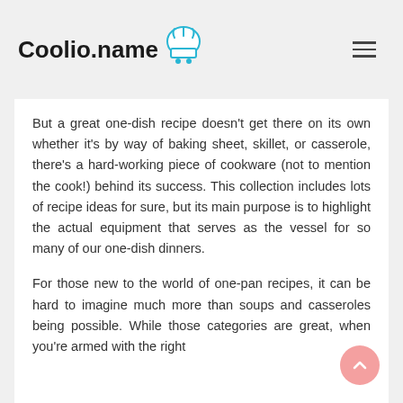Coolio.name
But a great one-dish recipe doesn't get there on its own whether it's by way of baking sheet, skillet, or casserole, there's a hard-working piece of cookware (not to mention the cook!) behind its success. This collection includes lots of recipe ideas for sure, but its main purpose is to highlight the actual equipment that serves as the vessel for so many of our one-dish dinners.
For those new to the world of one-pan recipes, it can be hard to imagine much more than soups and casseroles being possible. While those categories are great, when you're armed with the right